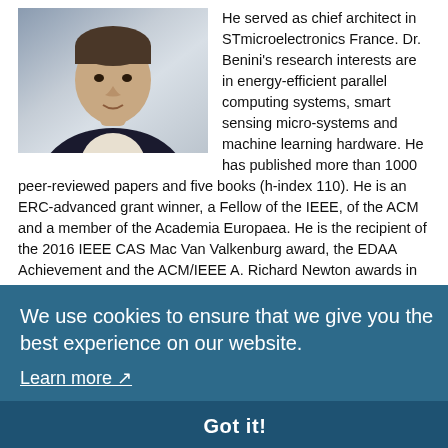[Figure (photo): Headshot photo of a man in a dark suit with white shirt, cropped at shoulders]
He served as chief architect in STmicroelectronics France. Dr. Benini's research interests are in energy-efficient parallel computing systems, smart sensing micro-systems and machine learning hardware. He has published more than 1000 peer-reviewed papers and five books (h-index 110). He is an ERC-advanced grant winner, a Fellow of the IEEE, of the ACM and a member of the Academia Europaea. He is the recipient of the 2016 IEEE CAS Mac Van Valkenburg award, the EDAA Achievement and the ACM/IEEE A. Richard Newton awards in 2020.
Josep Lluis Berral
[Figure (photo): Partial headshot photo of Josep Lluis Berral, head and shoulders visible]
Josep Lluis Berral received his degree in Informatics Engineering, M.Sc. in Computer Architecture (2009), and Ph.D. in Computer Science (2013) at BarcelonaTech-UPC. He works in High-Performance Data Analytics and parallel cloud environments at the Barcelona
We use cookies to ensure that we give you the best experience on our website.
Learn more
Got it!